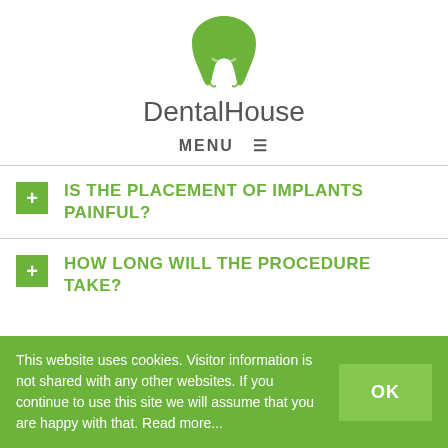[Figure (logo): DentalHouse logo: green tooth icon above the text 'DentalHouse']
MENU ☰
IS THE PLACEMENT OF IMPLANTS PAINFUL?
HOW LONG WILL THE PROCEDURE TAKE?
This website uses cookies. Visitor information is not shared with any other websites. If you continue to use this site we will assume that you are happy with that. Read more...